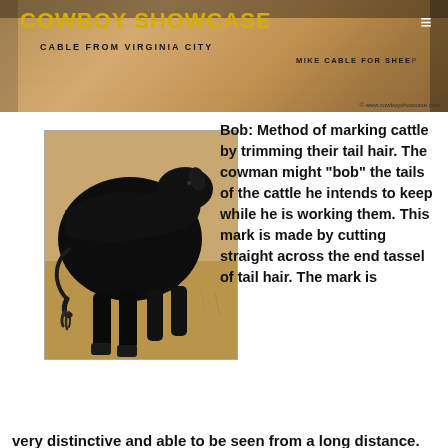COWBOY SHOWCASE — CABLE FROM VIRGINIA CITY / MIKE CABLE FOR SHEEP © www.cowboyshowcase.com
[Figure (photo): Black cow photographed from behind/side in a dry grass field, showing the tail area]
Bob:  Method of marking cattle by trimming their tail hair.  The cowman might "bob" the tails of the cattle he intends to keep while he is working them.   This mark is made by cutting straight across the end tassel of tail hair.  The mark is very distinctive and able to be seen from a long distance.  See "long tailed."